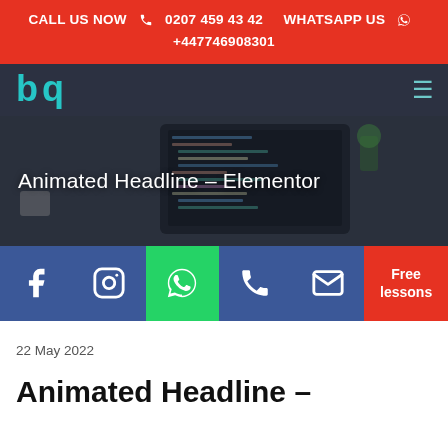CALL US NOW  0207 459 43 42  WHATSAPP US  +447746908301
[Figure (logo): BQ logo in teal/cyan on dark navy navigation bar with hamburger menu]
Animated Headline – Elementor
[Figure (illustration): Social media bar with Facebook, Instagram, WhatsApp, Phone, Email buttons and a red Free lessons button]
22 May 2022
Animated Headline –